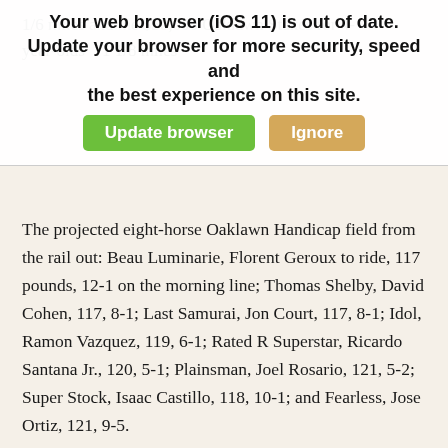1/6 miles and the $50,000 Oaklawn Stakes for 4-year-olds 1 1/8 miles
[Figure (screenshot): Browser update warning overlay: 'Your web browser (iOS 11) is out of date. Update your browser for more security, speed and the best experience on this site.' with green 'Update browser' button and tan 'Ignore' button.]
The projected eight-horse Oaklawn Handicap field from the rail out: Beau Luminarie, Florent Geroux to ride, 117 pounds, 12-1 on the morning line; Thomas Shelby, David Cohen, 117, 8-1; Last Samurai, Jon Court, 117, 8-1; Idol, Ramon Vazquez, 119, 6-1; Rated R Superstar, Ricardo Santana Jr., 120, 5-1; Plainsman, Joel Rosario, 121, 5-2; Super Stock, Isaac Castillo, 118, 10-1; and Fearless, Jose Ortiz, 121, 9-5.
Trained by Todd Pletcher, Fearless exits a six-length victory in the $100,000 Ghostzapper Stakes (G3) at 1 1/8 miles April 2 at Gulfstream Park. Fearless finished second by half-length after a Gor...